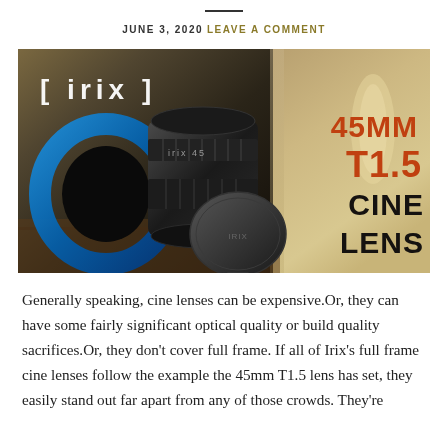JUNE 3, 2020  LEAVE A COMMENT
[Figure (photo): Irix 45mm T1.5 Cine Lens product photo showing the lens body, blue lens hood ring, and a lens cap on a wooden surface. The Irix logo appears in white brackets on the left side, and '45MM T1.5 CINE LENS' text appears in red and black on the right side.]
Generally speaking, cine lenses can be expensive.Or, they can have some fairly significant optical quality or build quality sacrifices.Or, they don't cover full frame. If all of Irix's full frame cine lenses follow the example the 45mm T1.5 lens has set, they easily stand out far apart from any of those crowds. They're